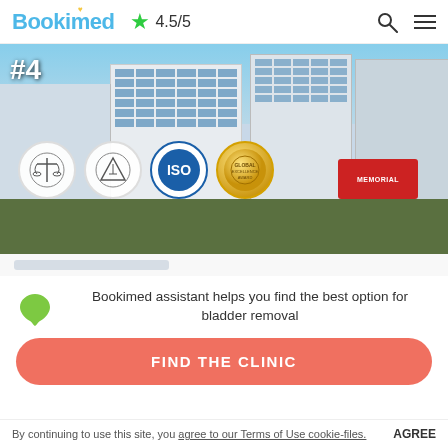Bookimed ★ 4.5/5
[Figure (photo): Hospital building exterior photo with #4 ranking badge and certification logos (JCI, ISO, and two others) overlaid at the bottom]
Bookimed assistant helps you find the best option for bladder removal
FIND THE CLINIC
By continuing to use this site, you agree to our Terms of Use cookie-files. AGREE